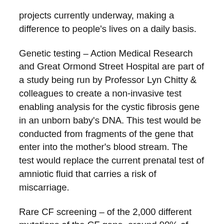projects currently underway, making a difference to people's lives on a daily basis.
Genetic testing – Action Medical Research and Great Ormond Street Hospital are part of a study being run by Professor Lyn Chitty & colleagues to create a non-invasive test enabling analysis for the cystic fibrosis gene in an unborn baby's DNA. This test would be conducted from fragments of the gene that enter into the mother's blood stream. The test would replace the current prenatal test of amniotic fluid that carries a risk of miscarriage.
Rare CF screening – of the 2,000 different mutations of the CF gene, around 90% of those with the condition have the most common